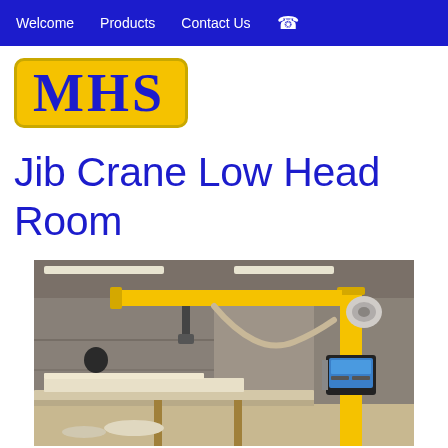Welcome   Products   Contact Us   ☎
MHS
Jib Crane Low Head Room
[Figure (photo): A yellow jib crane with low head room installed in an industrial workshop. A worker is visible in the background near machinery. The crane arm is mounted on a yellow vertical post and extends horizontally. A monitor/control panel is mounted on the right side post. Fluorescent lighting and workshop equipment visible in the background.]